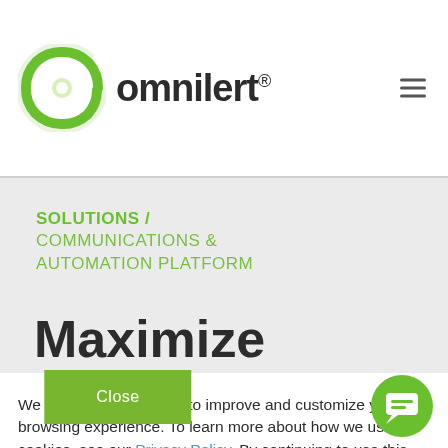[Figure (logo): Omnilert logo with green circular icon and dark text wordmark reading 'omnilert.' with registered trademark symbol]
SOLUTIONS / COMMUNICATIONS & AUTOMATION PLATFORM
Maximize
We use cookies in order to improve and customize your browsing experience. To learn more about how we use cookies, see our Privacy Policy. By continuing to use this site, you are giving us consent to do this.
Close